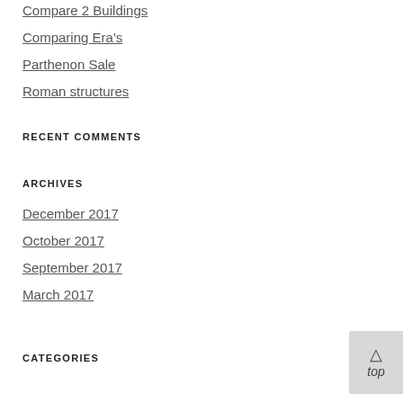Compare 2 Buildings
Comparing Era's
Parthenon Sale
Roman structures
RECENT COMMENTS
ARCHIVES
December 2017
October 2017
September 2017
March 2017
CATEGORIES